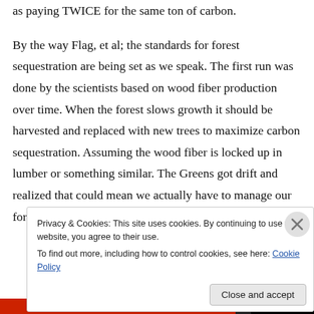as paying TWICE for the same ton of carbon. By the way Flag, et al; the standards for forest sequestration are being set as we speak. The first run was done by the scientists based on wood fiber production over time. When the forest slows growth it should be harvested and replaced with new trees to maximize carbon sequestration. Assuming the wood fiber is locked up in lumber or something similar. The Greens got drift and realized that could mean we actually have to manage our forests—no way Jose!! Now
Privacy & Cookies: This site uses cookies. By continuing to use this website, you agree to their use.
To find out more, including how to control cookies, see here: Cookie Policy